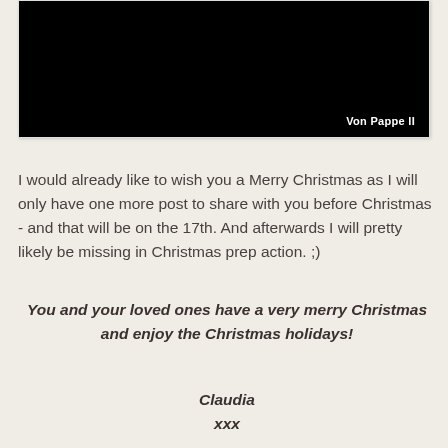[Figure (photo): Dark/black photograph with text 'Von Pappe II' in white at the bottom right corner, displayed in a white-bordered frame]
I would already like to wish you a Merry Christmas as I will only have one more post to share with you before Christmas - and that will be on the 17th. And afterwards I will pretty likely be missing in Christmas prep action. ;)
You and your loved ones have a very merry Christmas
and enjoy the Christmas holidays!
Claudia
xxx